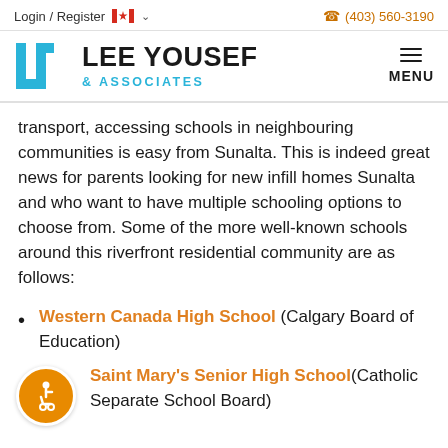Login / Register  (403) 560-3190
[Figure (logo): Lee Yousef & Associates logo with blue geometric LY icon and bold text]
transport, accessing schools in neighbouring communities is easy from Sunalta. This is indeed great news for parents looking for new infill homes Sunalta and who want to have multiple schooling options to choose from. Some of the more well-known schools around this riverfront residential community are as follows:
Western Canada High School (Calgary Board of Education)
Saint Mary's Senior High School(Catholic Separate School Board)